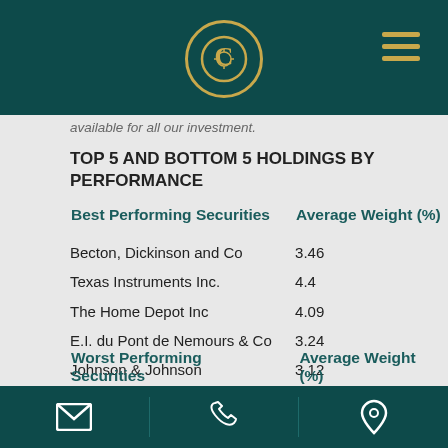[Company logo and navigation]
available for all our investment.
TOP 5 AND BOTTOM 5 HOLDINGS BY PERFORMANCE
| Best Performing Securities | Average Weight (%) |
| --- | --- |
| Becton, Dickinson and Co | 3.46 |
| Texas Instruments Inc. | 4.4 |
| The Home Depot Inc | 4.09 |
| E.I. du Pont de Nemours & Co | 3.24 |
| Johnson & Johnson | 3.12 |
| Worst Performing Securities | Average Weight (%) |
| --- | --- |
| Target Corp | 2.63 |
[Email] [Phone] [Location]